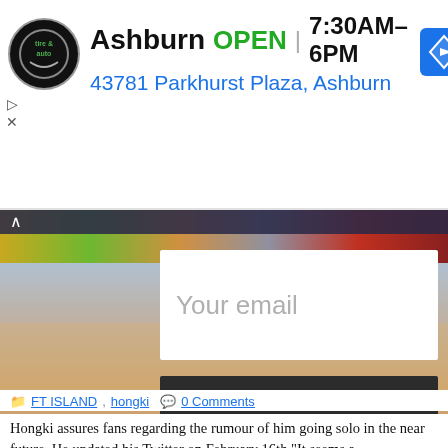[Figure (screenshot): Advertisement banner for Ashburn tire and auto shop showing logo, OPEN status, hours 7:30AM-6PM, address 43781 Parkhurst Plaza Ashburn, and navigation icon]
[Figure (photo): Background collage photo of K-pop group members (men in upper portion, women in lower portion), with email input overlay box and Get now! button overlay, and AddThis sharing widget]
FT ISLAND, hongki   0 Comments
Hongki assures fans regarding the rumour of him going solo in the near future. He updated his Twitter on February 16th,"It seems a...